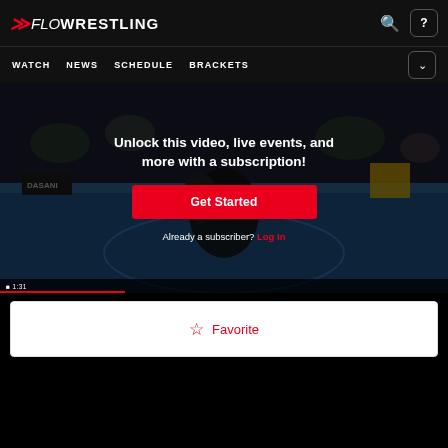FLOWRESTLING — WATCH | NEWS | SCHEDULE | BRACKETS
[Figure (screenshot): Wrestling match video thumbnail with two wrestlers on a blue mat, spectators in background, DASANI signage visible. Overlay shows subscription prompt.]
Unlock this video, live events, and more with a subscription!
Get Started
Already a subscriber? Log In
Favorite